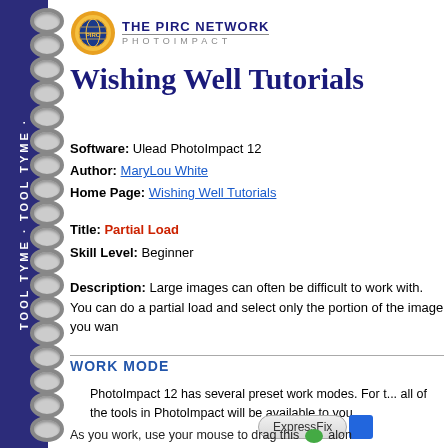[Figure (logo): THE PIRC NETWORK PHOTOIMPACT logo with globe icon]
Wishing Well Tutorials
Software: Ulead PhotoImpact 12
Author: MaryLou White
Home Page: Wishing Well Tutorials
Title: Partial Load
Skill Level: Beginner
Description: Large images can often be difficult to work with. You can do a partial load and select only the portion of the image you want to work with.
WORK MODE
PhotoImpact 12 has several preset work modes. For this tutorial, we will use the Full Edit mode so all of the tools in PhotoImpact will be available to you.
As you work, use your mouse to drag this [icon] alon